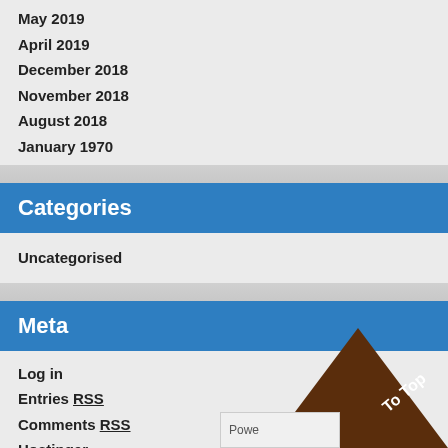May 2019
April 2019
December 2018
November 2018
August 2018
January 1970
Categories
Uncategorised
Meta
Log in
Entries RSS
Comments RSS
Hostinger
000webhost